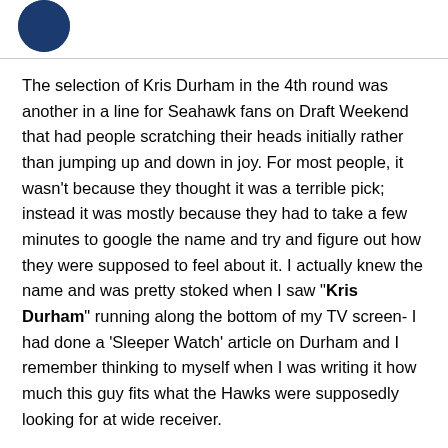[Figure (logo): Partial circular logo, dark blue, top left corner]
The selection of Kris Durham in the 4th round was another in a line for Seahawk fans on Draft Weekend that had people scratching their heads initially rather than jumping up and down in joy. For most people, it wasn't because they thought it was a terrible pick; instead it was mostly because they had to take a few minutes to google the name and try and figure out how they were supposed to feel about it. I actually knew the name and was pretty stoked when I saw "Kris Durham" running along the bottom of my TV screen- I had done a 'Sleeper Watch' article on Durham and I remember thinking to myself when I was writing it how much this guy fits what the Hawks were supposedly looking for at wide receiver.